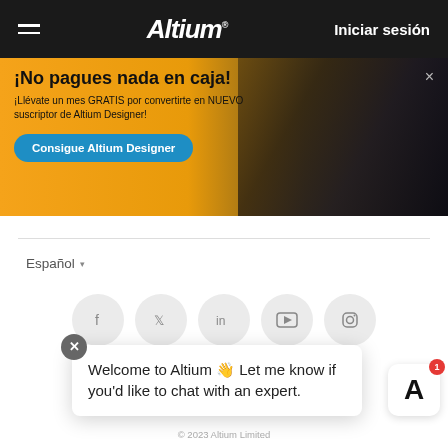Altium — Iniciar sesión
[Figure (screenshot): Altium website banner advertising free month for new Altium Designer subscribers, with orange background and circuit board image]
¡No pagues nada en caja!
¡Llévate un mes GRATIS por convertirte en NUEVO suscriptor de Altium Designer!
Consigue Altium Designer
Español
[Figure (infographic): Row of social media icon buttons: Facebook, Twitter, LinkedIn, YouTube, Instagram]
Derechos de autor y marca registrada  Modern Slavery Policy
Política de pr... de uso...
Contrat... al
Welcome to Altium 👋 Let me know if you'd like to chat with an expert.
© 2023 Altium Limited